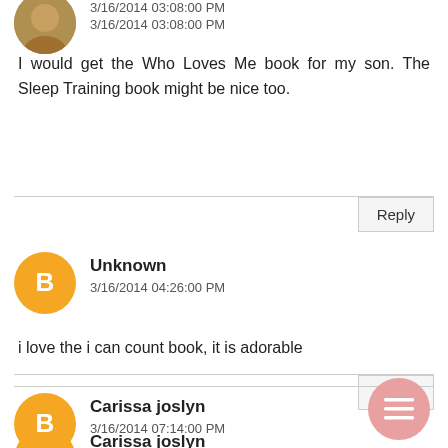[Figure (photo): Circular avatar photo of a commenter (partial, cut at top)]
3/16/2014 03:08:00 PM
I would get the Who Loves Me book for my son. The Sleep Training book might be nice too.
Reply
[Figure (illustration): Orange circular Blogger avatar icon with white B letter]
Unknown
3/16/2014 04:26:00 PM
i love the i can count book, it is adorable
Reply
[Figure (illustration): Orange circular Blogger avatar icon with white B letter]
Carissa joslyn
3/16/2014 07:14:00 PM
I think I would choose the I use the potty one!
[Figure (illustration): Pink circular menu/hamburger icon button in bottom right corner]